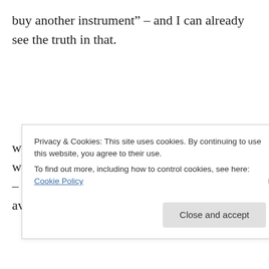buy another instrument” – and I can already see the truth in that.
while I might not “need” to, of course, there will still be some cases where I will “want” to – I am especially interested in some of the available third party ambient
Privacy & Cookies: This site uses cookies. By continuing to use this website, you agree to their use.
To find out more, including how to control cookies, see here: Cookie Policy
Close and accept